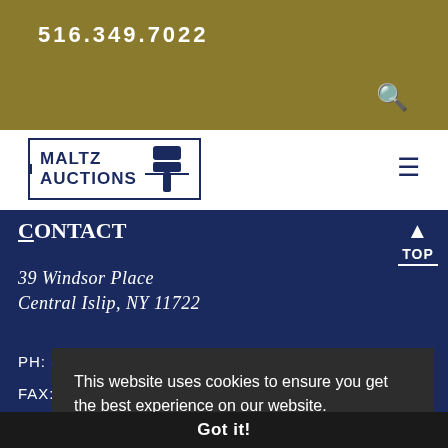516.349.7022
[Figure (logo): Maltz Auctions logo with gavel icon inside a bordered box]
Contact
39 Windsor Place
Central Islip, NY 11722
PH: 516.349.7022
FAX:
This website uses cookies to ensure you get the best experience on our website. Learn more
Got it!